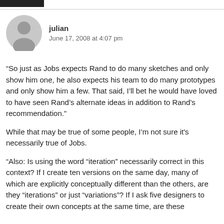[Figure (illustration): Grey circular user avatar icon with silhouette of a person]
julian
June 17, 2008 at 4:07 pm
“So just as Jobs expects Rand to do many sketches and only show him one, he also expects his team to do many prototypes and only show him a few. That said, I’ll bet he would have loved to have seen Rand’s alternate ideas in addition to Rand’s recommendation.”
While that may be true of some people, I’m not sure it's necessarily true of Jobs.
“Also: Is using the word “iterations” necessarily correct in this context? If I create ten versions on the same day, many of which are explicitly conceptually different than the others, are they “iterations” or just “variations”? If I ask five designers to create their own concepts at the same time, are these...